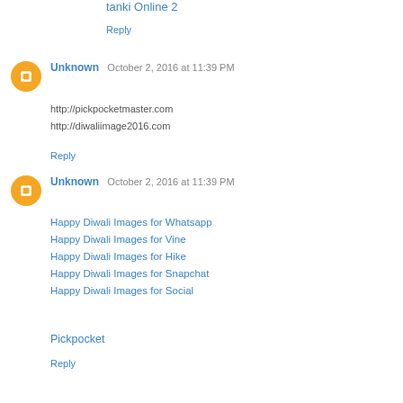tanki Online 2
Reply
Unknown  October 2, 2016 at 11:39 PM
http://pickpocketmaster.com
http://diwaliimage2016.com
Reply
Unknown  October 2, 2016 at 11:39 PM
Happy Diwali Images for Whatsapp
Happy Diwali Images for Vine
Happy Diwali Images for Hike
Happy Diwali Images for Snapchat
Happy Diwali Images for Social
Pickpocket
Reply